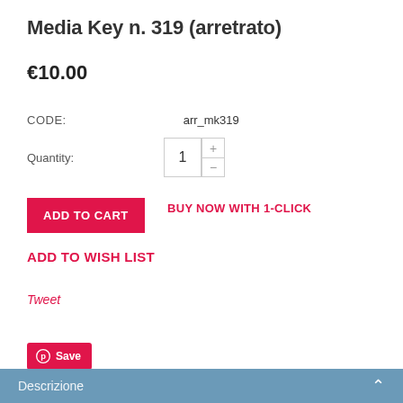Media Key n. 319 (arretrato)
€10.00
CODE:   arr_mk319
Quantity: 1
ADD TO CART
BUY NOW WITH 1-CLICK
ADD TO WISH LIST
Tweet
Save
Descrizione